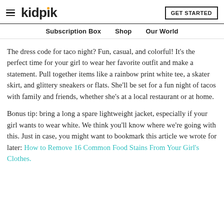kidpik | GET STARTED
Subscription Box  Shop  Our World
The dress code for taco night? Fun, casual, and colorful! It's the perfect time for your girl to wear her favorite outfit and make a statement. Pull together items like a rainbow print white tee, a skater skirt, and glittery sneakers or flats. She'll be set for a fun night of tacos with family and friends, whether she's at a local restaurant or at home.
Bonus tip: bring a long a spare lightweight jacket, especially if your girl wants to wear white. We think you'll know where we're going with this. Just in case, you might want to bookmark this article we wrote for later: How to Remove 16 Common Food Stains From Your Girl's Clothes.